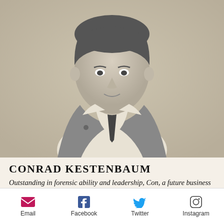[Figure (photo): Black and white yearbook portrait photo of Conrad Kestenbaum, showing a young man in a suit and tie, smiling, photographed from the chest up.]
CONRAD KESTENBAUM
Outstanding in forensic ability and leadership, Con, a future business executive, has the secret ambition of becoming a dollar...
Email  Facebook  Twitter  Instagram